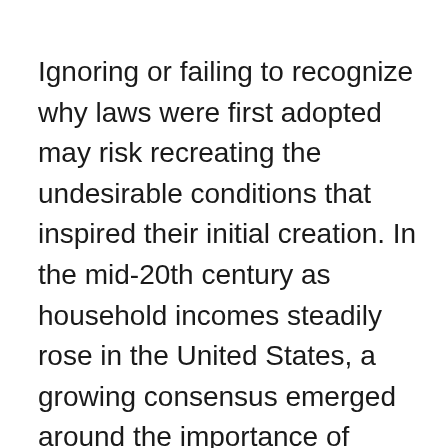Ignoring or failing to recognize why laws were first adopted may risk recreating the undesirable conditions that inspired their initial creation. In the mid-20th century as household incomes steadily rose in the United States, a growing consensus emerged around the importance of preventing and remediating environmental pollution. Improving air and water quality, cleaning up contaminated soil, limiting noxious industrial uses, protecting wetlands, and preserving open space became major